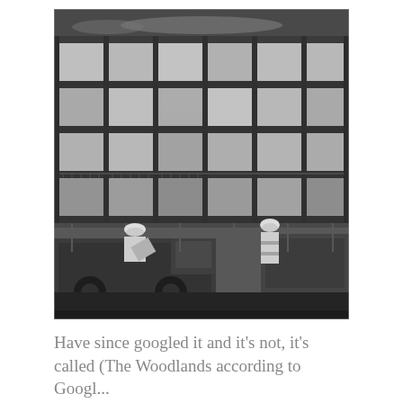[Figure (photo): Black and white photograph of a multi-storey building under construction with scaffolding. Two construction workers in high-visibility vests and white hard hats are visible at the bottom near heavy machinery and fencing.]
Have since googled it and it's not, it's called (The Woodlands according to Googl...